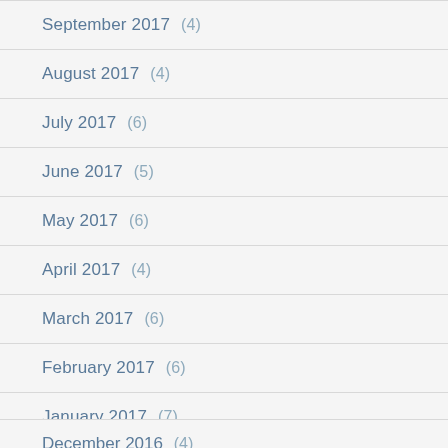September 2017 (4)
August 2017 (4)
July 2017 (6)
June 2017 (5)
May 2017 (6)
April 2017 (4)
March 2017 (6)
February 2017 (6)
January 2017 (7)
December 2016 (4)